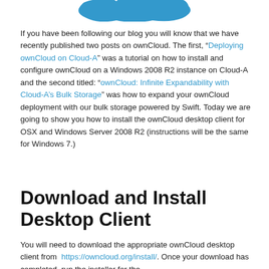[Figure (illustration): Partial blue ownCloud logo / icon visible at top of page, showing the bottom portion of a blue teardrop/cloud shape]
If you have been following our blog you will know that we have recently published two posts on ownCloud. The first, “Deploying ownCloud on Cloud-A” was a tutorial on how to install and configure ownCloud on a Windows 2008 R2 instance on Cloud-A and the second titled: “ownCloud: Infinite Expandability with Cloud-A’s Bulk Storage” was how to expand your ownCloud deployment with our bulk storage powered by Swift. Today we are going to show you how to install the ownCloud desktop client for OSX and Windows Server 2008 R2 (instructions will be the same for Windows 7.)
Download and Install Desktop Client
You will need to download the appropriate ownCloud desktop client from https://owncloud.org/install/. Once your download has completed, run the installer for the